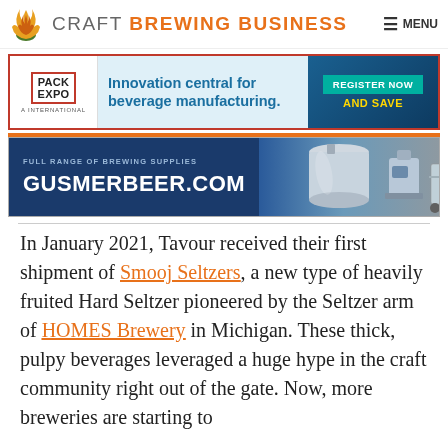CRAFT BREWING BUSINESS — MENU
[Figure (other): Pack Expo International advertisement banner: Innovation central for beverage manufacturing. Register Now and Save.]
[Figure (other): Gusmer Beer advertisement banner: Full Range of Brewing Supplies — GUSMERBEER.COM, with brewing equipment images.]
In January 2021, Tavour received their first shipment of Smooj Seltzers, a new type of heavily fruited Hard Seltzer pioneered by the Seltzer arm of HOMES Brewery in Michigan. These thick, pulpy beverages leveraged a huge hype in the craft community right out of the gate. Now, more breweries are starting to